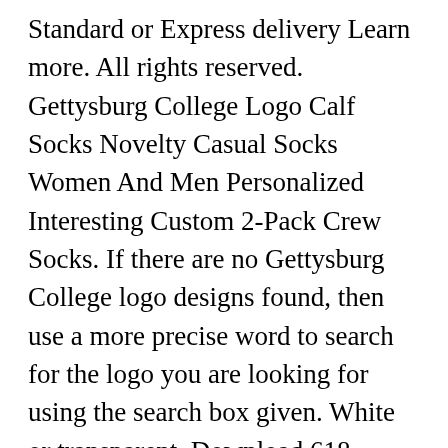Standard or Express delivery Learn more. All rights reserved. Gettysburg College Logo Calf Socks Novelty Casual Socks Women And Men Personalized Interesting Custom 2-Pack Crew Socks. If there are no Gettysburg College logo designs found, then use a more precise word to search for the logo you are looking for using the search box given. White or transparent. Download 618 college logos free vectors. Leadership Lessons with Susan Eisenhower: Jennifer Fischer Bryant ’82. 99. In a nod to political correctness, the Gettysburg College Athletic Department announced this week it is holstering â Bulletsâ as the nickname for its sports teams. Includes results available with selected plan; Includes results available with